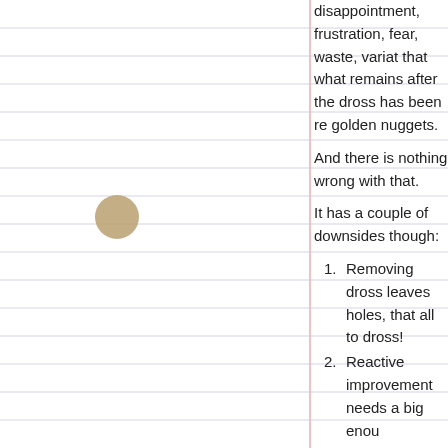disappointment, frustration, fear, waste, variat... that what remains after the dross has been re... golden nuggets.
And there is nothing wrong with that.
It has a couple of downsides though:
1. Removing dross leaves holes, that all to... dross!
2. Reactive improvement needs a big enou...
The implication is that reactive improvement g... relieved and as it becomes mired in a differen... the Quality Control Inspectorate!
No wonder we feel as if we are trapped in a p... chaotic mediocrity.
Creative improvement is, as the name sugges... something that we want in the future.  Someth...